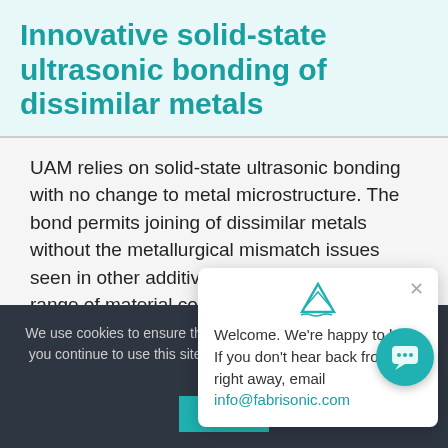Innovative solid-state ultrasonic bonding of dissimilar metals
UAM relies on solid-state ultrasonic bonding with no change to metal microstructure. The bond permits joining of dissimilar metals without the metallurgical mismatch issues seen in other additive processes. A wide range of material combinations can be achieved, opening the design space for property gradients...
[Figure (screenshot): Chat popup widget showing welcome message with email info@fabrisonic.com and a close button]
We use cookies to ensure the best experience on our website. If you continue to use this site we will assume that you are happy with it.